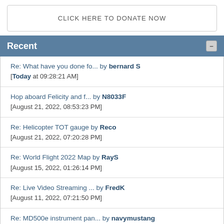CLICK HERE TO DONATE NOW
Recent
Re: What have you done fo... by bernard S [Today at 09:28:21 AM]
Hop aboard Felicity and f... by N8033F [August 21, 2022, 08:53:23 PM]
Re: Helicopter TOT gauge by Reco [August 21, 2022, 07:20:28 PM]
Re: World Flight 2022 Map by RayS [August 15, 2022, 01:26:14 PM]
Re: Live Video Streaming ... by FredK [August 11, 2022, 07:21:50 PM]
Re: MD500e instrument pan... by navymustang [August 09, 2022, 04:43:05 AM]
Re: Cockpitbuilders.com, ... by sagrada737 [August 06, 2022, 06:47:42 AM]